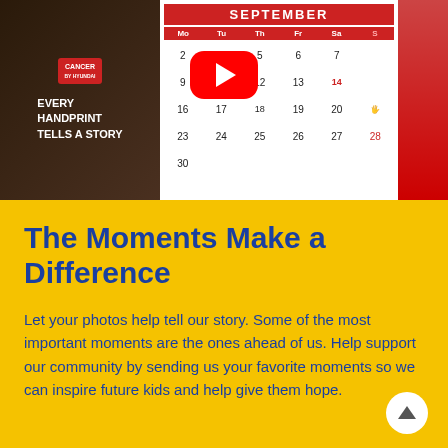[Figure (photo): A photo showing a person holding a sign that reads 'EVERY HANDPRINT TELLS A STORY' next to a September calendar with colorful handprints on some dates, overlaid with a YouTube play button]
The Moments Make a Difference
Let your photos help tell our story. Some of the most important moments are the ones ahead of us. Help support our community by sending us your favorite moments so we can inspire future kids and help give them hope.